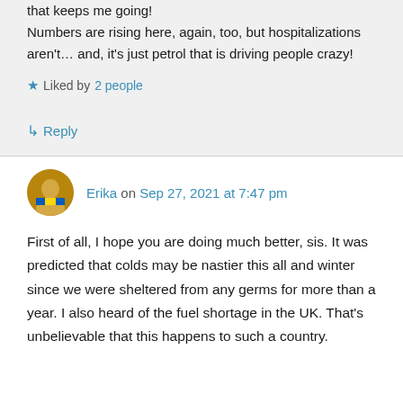that keeps me going!
Numbers are rising here, again, too, but hospitalizations aren't… and, it's just petrol that is driving people crazy!
Liked by 2 people
↳ Reply
Erika on Sep 27, 2021 at 7:47 pm
First of all, I hope you are doing much better, sis. It was predicted that colds may be nastier this all and winter since we were sheltered from any germs for more than a year. I also heard of the fuel shortage in the UK. That's unbelievable that this happens to such a country.